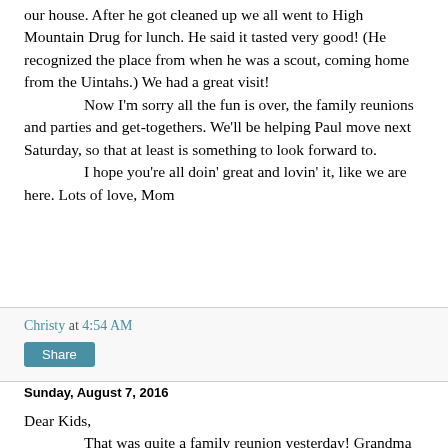our house. After he got cleaned up we all went to High Mountain Drug for lunch. He said it tasted very good! (He recognized the place from when he was a scout, coming home from the Uintahs.) We had a great visit!
	Now I'm sorry all the fun is over, the family reunions and parties and get-togethers. We'll be helping Paul move next Saturday, so that at least is something to look forward to.
	I hope you're all doin' great and lovin' it, like we are here. Lots of love, Mom
Christy at 4:54 AM
Share
Sunday, August 7, 2016
Dear Kids,
	That was quite a family reunion yesterday! Grandma and Grandpa Allen would have been proud of us, and especially proud of Charley and Bonnie for planning it so